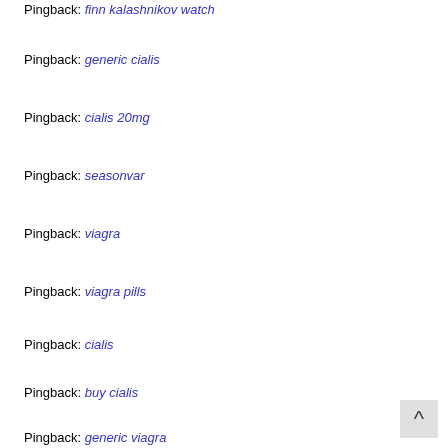Pingback: finn kalashnikov watch
Pingback: generic cialis
Pingback: cialis 20mg
Pingback: seasonvar
Pingback: viagra
Pingback: viagra pills
Pingback: cialis
Pingback: buy cialis
Pingback: generic viagra